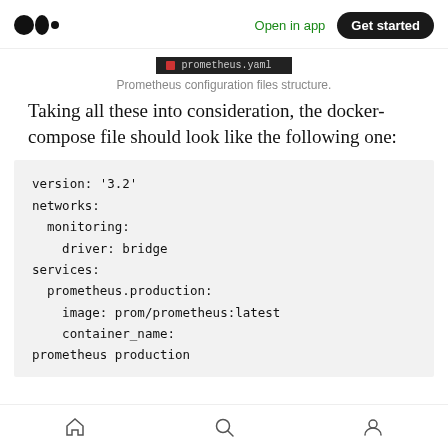Medium logo | Open in app | Get started
[Figure (screenshot): Dark banner showing 'prometheus.yaml' filename]
Prometheus configuration files structure.
Taking all these into consideration, the docker-compose file should look like the following one:
version: '3.2'
networks:
  monitoring:
    driver: bridge
services:
  prometheus.production:
    image: prom/prometheus:latest
    container_name:
prometheus production
Home | Search | Profile